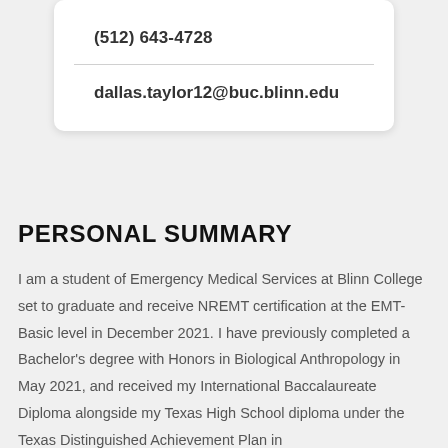(512) 643-4728
dallas.taylor12@buc.blinn.edu
PERSONAL SUMMARY
I am a student of Emergency Medical Services at Blinn College set to graduate and receive NREMT certification at the EMT-Basic level in December 2021. I have previously completed a Bachelor's degree with Honors in Biological Anthropology in May 2021, and received my International Baccalaureate Diploma alongside my Texas High School diploma under the Texas Distinguished Achievement Plan in